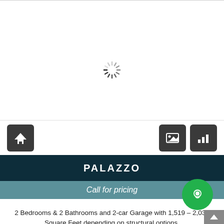[Figure (screenshot): Loading spinner (spinning circle indicator)]
[Figure (screenshot): Icon buttons: home icon on left, image and chart icons on right]
PALAZZO
Call for pricing
2 Bedrooms & 2 Bathrooms and 2-car Garage with 1,519 – 2,034 Square Feet depending on structural options.
|  |  |
| --- | --- |
| Bed | 2 |
| Baths | 2 |
| Sq Ft | 19 |